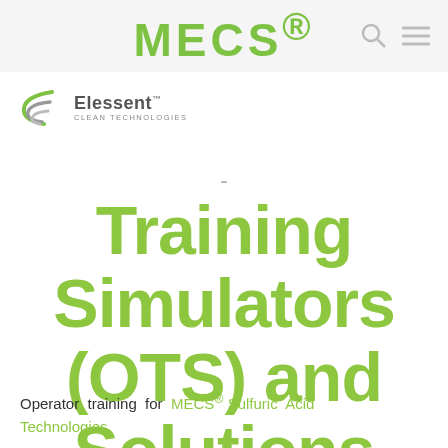MECS®
[Figure (logo): Elessent Clean Technologies logo with stylized 'E' mark in gray and green]
Training Simulators (OTS) and Solutions
Operator training for MECS Sulfuric Acid Technologies